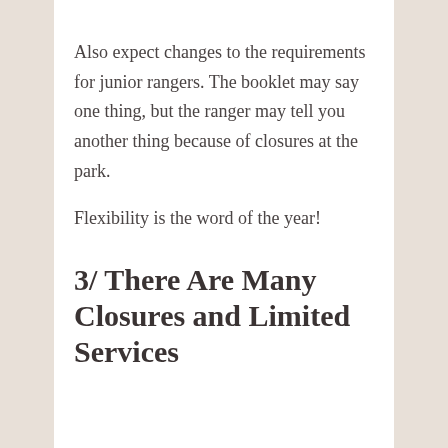Also expect changes to the requirements for junior rangers. The booklet may say one thing, but the ranger may tell you another thing because of closures at the park.
Flexibility is the word of the year!
3/ There Are Many Closures and Limited Services